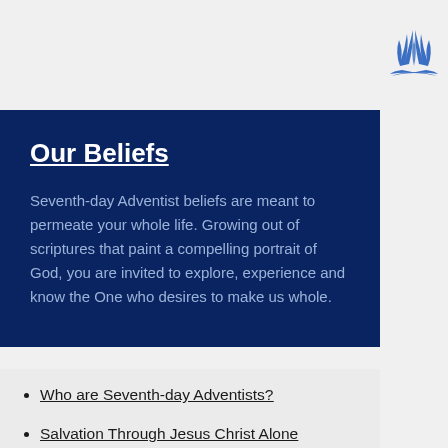[Figure (logo): Seventh-day Adventist Church logo — blue flame/wing symbol above an open book]
Our Beliefs
Seventh-day Adventist beliefs are meant to permeate your whole life. Growing out of scriptures that paint a compelling portrait of God, you are invited to explore, experience and know the One who desires to make us whole.
Who are Seventh-day Adventists?
Salvation Through Jesus Christ Alone
The Holy Bible: Your Introduction to the Almighty God
Why is the Seventh-day Sabbath so